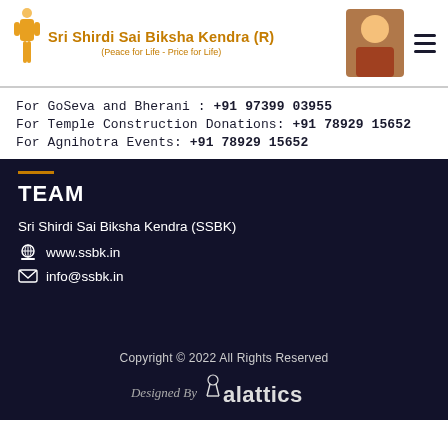Sri Shirdi Sai Biksha Kendra (R) (Peace for Life - Price for Life)
For GoSeva and Bherani : +91 97399 03955
For Temple Construction Donations: +91 78929 15652
For Agnihotra Events: +91 78929 15652
TEAM
Sri Shirdi Sai Biksha Kendra (SSBK)
www.ssbk.in
info@ssbk.in
Copyright © 2022 All Rights Reserved
Designed By Yalattics